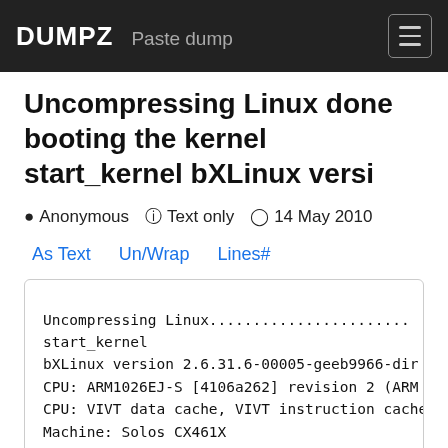DUMPZ  Paste dump
Uncompressing Linux done booting the kernel start_kernel bXLinux versi
Anonymous   Text only   14 May 2010
As Text   Un/Wrap   Lines#
Uncompressing Linux.......................
start_kernel
bXLinux version 2.6.31.6-00005-geeb9966-dir
CPU: ARM1026EJ-S [4106a262] revision 2 (ARM
CPU: VIVT data cache, VIVT instruction cache
Machine: Solos CX461X
Memory policy: ECC disabled, Data cache writ
Built 1 zonelists in Zone order, mobility g
Kernel command line: console=ttyS0,9600,mt